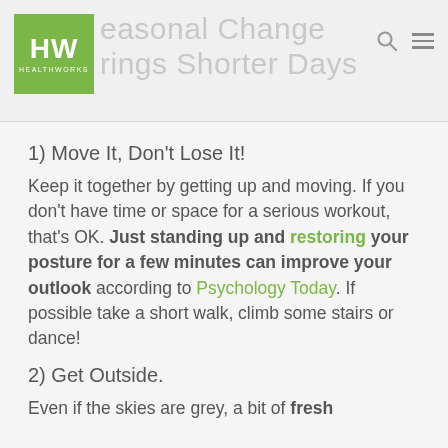Seasonal Change Brings Shorter Days
1) Move It, Don't Lose It! Keep it together by getting up and moving. If you don't have time or space for a serious workout, that's OK. Just standing up and restoring your posture for a few minutes can improve your outlook according to Psychology Today. If possible take a short walk, climb some stairs or dance!
2) Get Outside. Even if the skies are grey, a bit of fresh